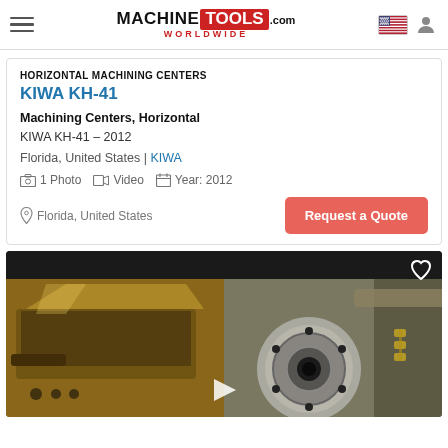MACHINE TOOLS .com WORLDWIDE
HORIZONTAL MACHINING CENTERS
KIWA KH-41
Machining Centers, Horizontal
KIWA KH-41 – 2012
Florida, United States | KIWA
1 Photo  Video  Year: 2012
Request a Quote
Florida, United States
[Figure (photo): Two-panel photo showing machining center components: left panel shows a CNC horizontal machining center body with tool arm in warm amber lighting, right panel shows a close-up of a spindle/chuck face on the horizontal machining center]